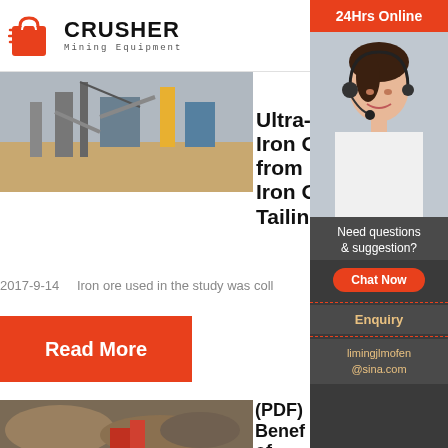[Figure (logo): Crusher Mining Equipment logo with red shopping bag icon and bold CRUSHER text]
[Figure (photo): Mining equipment / stone crushing plant facility outdoors]
Ultra-Fine Iron Ore from Iron Ore Tailin…
2017-9-14    Iron ore used in the study was coll…
Read More
[Figure (photo): Iron ore mining quarry with rocks and machinery]
(PDF) Benef… of Low…
[Figure (photo): Customer service representative with headset — 24Hrs Online sidebar]
24Hrs Online
Need questions & suggestion?
Chat Now
Enquiry
limingjlmofen@sina.com